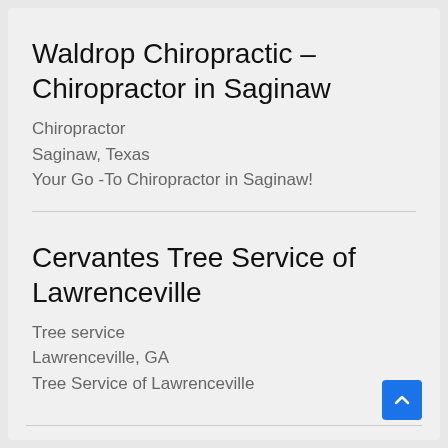Waldrop Chiropractic – Chiropractor in Saginaw
Chiropractor
Saginaw, Texas
Your Go -To Chiropractor in Saginaw!
Cervantes Tree Service of Lawrenceville
Tree service
Lawrenceville, GA
Tree Service of Lawrenceville